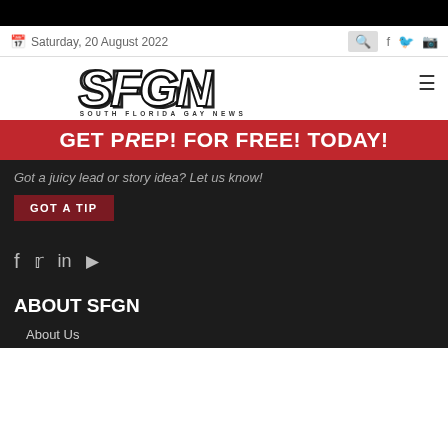Saturday, 20 August 2022
[Figure (logo): SFGN South Florida Gay News logo]
[Figure (infographic): Red advertisement banner: GET PrEP! FOR FREE! TODAY!]
Got a juicy lead or story idea? Let us know!
GOT A TIP
ABOUT SFGN
About Us